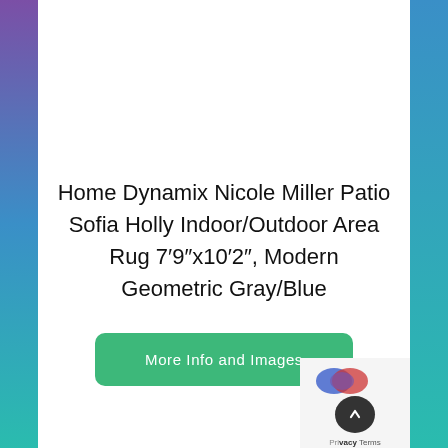Home Dynamix Nicole Miller Patio Sofia Holly Indoor/Outdoor Area Rug 7'9"x10'2", Modern Geometric Gray/Blue
More Info and Images